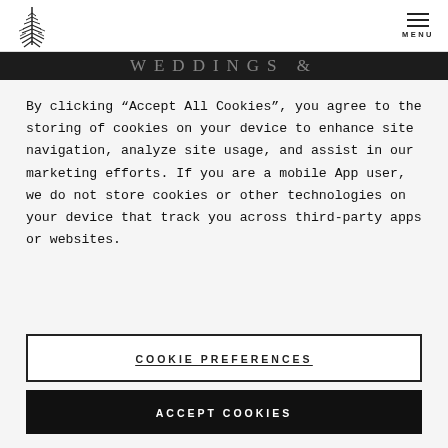[Figure (logo): Pine tree / evergreen logo illustration in black line art]
MENU
[Figure (photo): Dark hero banner area partially visible showing WEDDINGS & text faded]
By clicking “Accept All Cookies”, you agree to the storing of cookies on your device to enhance site navigation, analyze site usage, and assist in our marketing efforts. If you are a mobile App user, we do not store cookies or other technologies on your device that track you across third-party apps or websites.
COOKIE PREFERENCES
ACCEPT COOKIES